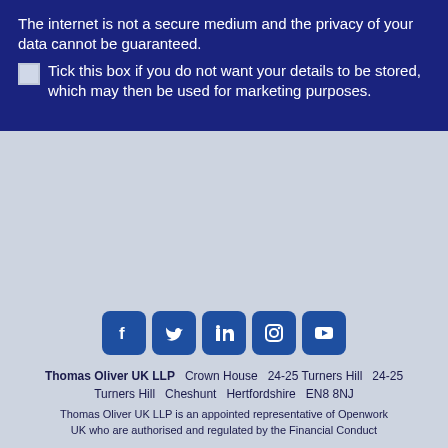The internet is not a secure medium and the privacy of your data cannot be guaranteed.
Tick this box if you do not want your details to be stored, which may then be used for marketing purposes.
[Figure (other): Social media icons row: Facebook, Twitter, LinkedIn, Instagram, YouTube — white icons on dark blue rounded square backgrounds]
Thomas Oliver UK LLP   Crown House   24-25 Turners Hill   24-25 Turners Hill   Cheshunt   Hertfordshire   EN8 8NJ
Thomas Oliver UK LLP is an appointed representative of Openwork UK who are authorised and regulated by the Financial Conduct